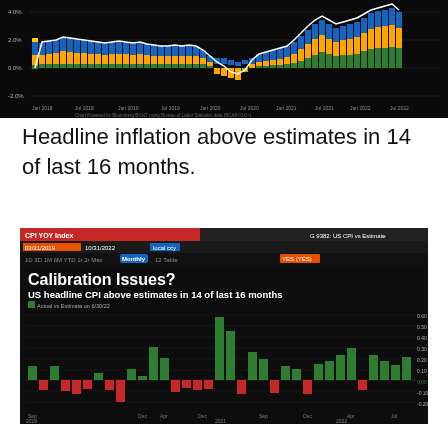[Figure (stacked-bar-chart): Bloomberg BGNT stacked bar chart showing CPI components (blue, orange, green bars) with white line from Jan 2018 to Jul 2022, y-axis from -2.0% to 4.0%]
Headline inflation above estimates in 14 of last 16 months.
[Figure (bar-chart): Bloomberg G 9382: US CPI vs Estimate chart. CPI YOY Index showing Actual vs Estimate on 6/30/22. Green bars show positive surprises, red bars show negative surprises. Date range 2019-2022. Y-axis ranges from approximately -0.20 to 0.60.]